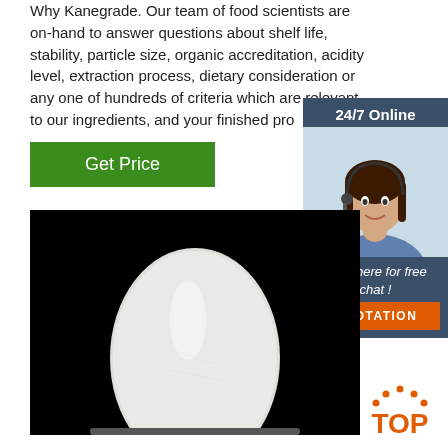Why Kanegrade. Our team of food scientists are on-hand to answer questions about shelf life, stability, particle size, organic accreditation, acidity level, extraction process, dietary consideration or any one of hundreds of criteria which are relevant to our ingredients, and your finished pro
[Figure (other): Green 'Get Price' button]
[Figure (other): Chat widget with '24/7 Online' header, photo of female customer service representative with headset, 'Click here for free chat!' text, and orange QUOTATION button]
[Figure (photo): Product photo: white powder in a container on black background]
[Figure (logo): Orange 'TOP' badge with arc of dots above]